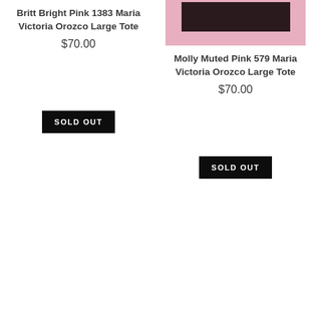[Figure (photo): Partial view of a muted pink tote bag product image (Molly Muted Pink) showing a pink background with dark rectangular element]
Britt Bright Pink 1383 Maria Victoria Orozco Large Tote
$70.00
Molly Muted Pink 579 Maria Victoria Orozco Large Tote
$70.00
SOLD OUT
SOLD OUT
Bella Black 350 Maria Victoria